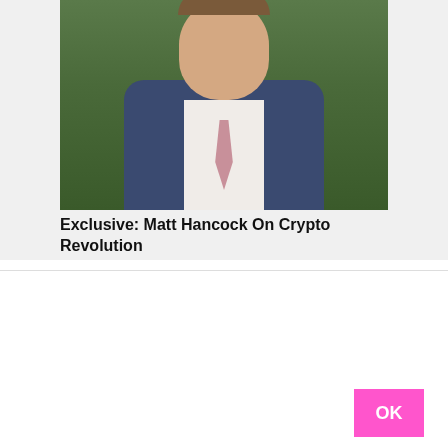[Figure (photo): Photograph of Matt Hancock, a man in a navy blue suit with a pink tie and white shirt, photographed outdoors against a green leafy background]
Exclusive: Matt Hancock On Crypto Revolution
This Site Uses Cookies
This site, like many others, uses small files called cookies to help us improve and customize your experience. Learn more about how we use cookies in our cookie policy.